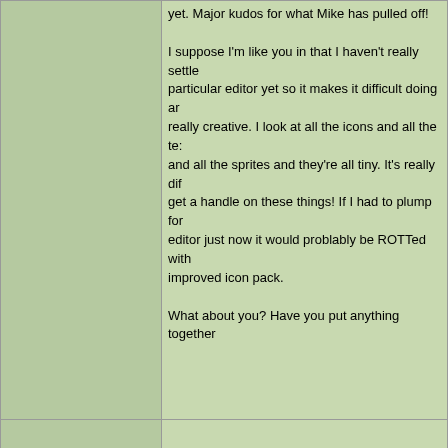yet. Major kudos for what Mike has pulled off!

I suppose I'm like you in that I haven't really settled on a particular editor yet so it makes it difficult doing anything really creative. I look at all the icons and all the textures and all the sprites and they're all tiny. It's really difficult to get a handle on these things! If I had to plump for an editor just now it would problably be ROTTed with an improved icon pack.

What about you? Have you put anything together
Lawstiker

Joined: 12 Nov 2010
Posts: 473
Location: Sol System
Posted: Wed Nov 24, 2010 8:37 pm    Post subject:
Well...Its been going alright so far. Still learning what it can and can't do, and what might cause problems and such. Pretty much most of my work is done on Rott3Deditor actually, as its the first editor I messed with. I have been taking a liking to MapedROT actually, for some things

The only thing I could say that is solid is the map i've been working on in Rott3Deditor. I've crashed the editor quite a few times when playing it, but i'm learning... what i'm making with the other editors is just test work. Still haven't given Ted5 a run yet...and have no idea how to operate the ROTTen editor yet.

But its been fun.